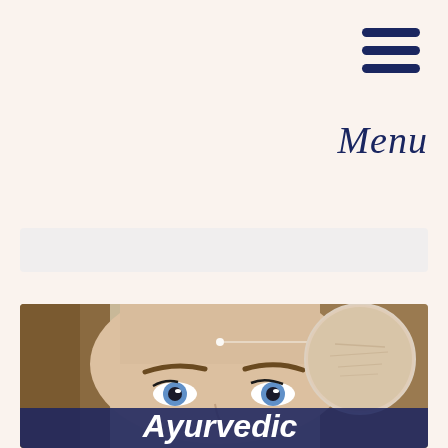[Figure (illustration): Hamburger menu icon with three dark navy horizontal bars stacked vertically, positioned at top right]
Menu
[Figure (illustration): Light grey/beige search bar rectangle below the menu area]
[Figure (photo): Close-up photo of a young woman with brown hair looking up, with a magnifying circle inset at the top right showing zoomed-in skin texture (wrinkles/pores). A line connects a point on her forehead to the magnified circle. A dark navy semi-transparent banner at the bottom shows the word 'Ayurvedic' in bold white italic text.]